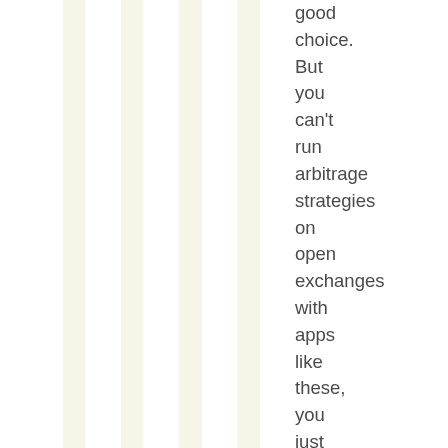good choice. But you can't run arbitrage strategies on open exchanges with apps like these, you just can't compete. For f